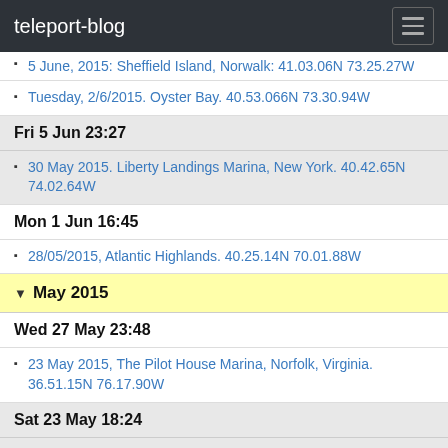teleport-blog
5 June, 2015. Sheffield Island, Norwalk. 41.03.06N 73.25.27W
Tuesday, 2/6/2015. Oyster Bay. 40.53.066N 73.30.94W
Fri 5 Jun 23:27
30 May 2015. Liberty Landings Marina, New York. 40.42.65N 74.02.64W
Mon 1 Jun 16:45
28/05/2015, Atlantic Highlands. 40.25.14N 70.01.88W
May 2015
Wed 27 May 23:48
23 May 2015, The Pilot House Marina, Norfolk, Virginia. 36.51.15N 76.17.90W
Sat 23 May 18:24
Thursday, 14/5/2015. Beaufort, North Carolina. 34.42.93N 76.39.84W
Wed 13 May 05:52
Beaufort, Forth Carolina. 34-42.16N. 78-40.98W